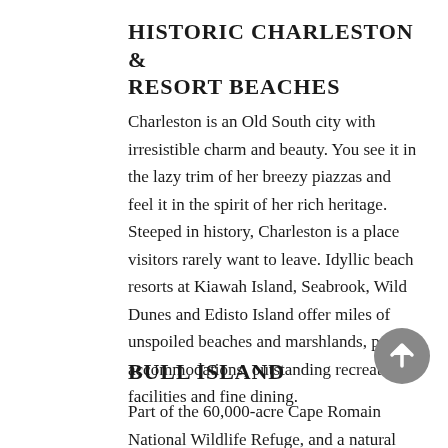HISTORIC CHARLESTON & RESORT BEACHES
Charleston is an Old South city with irresistible charm and beauty. You see it in the lazy trim of her breezy piazzas and feel it in the spirit of her rich heritage. Steeped in history, Charleston is a place visitors rarely want to leave. Idyllic beach resorts at Kiawah Island, Seabrook, Wild Dunes and Edisto Island offer miles of unspoiled beaches and marshlands, posh accommodations, outstanding recreation facilities and fine dining.
[Figure (illustration): Gray circular button with upward-pointing arrow icon]
BULL ISLAND
Part of the 60,000-acre Cape Romain National Wildlife Refuge, and a natural beach, Bull Island offers an exciting day-